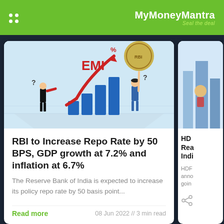MyMoneyMantra — Seal the deal
[Figure (illustration): Illustration showing EMI rate increase: bar chart with rising red arrow labeled EMI with % symbol, a person looking through telescope on left, a woman holding up a coin on right, RBI coin/seal visible in background]
RBI to Increase Repo Rate by 50 BPS, GDP growth at 7.2% and inflation at 6.7%
The Reserve Bank of India is expected to increase its policy repo rate by 50 basis point...
Read more
08 Jun 2022 // 3 min read
[Figure (illustration): Partial view of a second article card showing HDR/HDFC related content about Real Estate in India]
HD Rea Indi
HDF anno goin